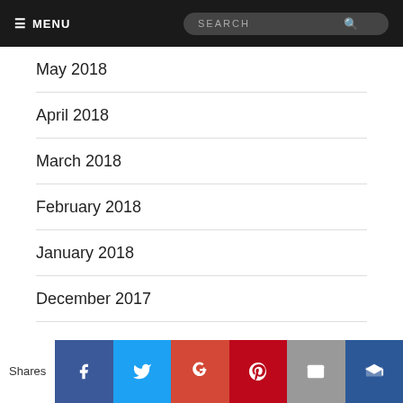MENU | SEARCH
May 2018
April 2018
March 2018
February 2018
January 2018
December 2017
November 2017
October 2017
September 2017
Shares | Facebook | Twitter | Google+ | Pinterest | Email | Crown